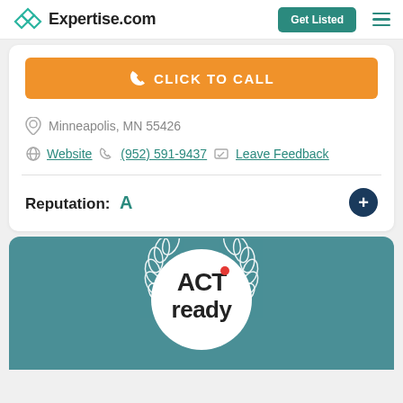Expertise.com
CLICK TO CALL
Minneapolis, MN 55426
Website  (952) 591-9437  Leave Feedback
Reputation: A
[Figure (logo): ACT ready logo with laurel wreath on teal background]